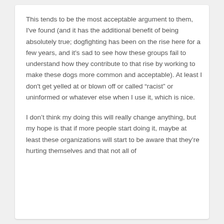This tends to be the most acceptable argument to them, I've found (and it has the additional benefit of being absolutely true; dogfighting has been on the rise here for a few years, and it's sad to see how these groups fail to understand how they contribute to that rise by working to make these dogs more common and acceptable). At least I don't get yelled at or blown off or called “racist” or uninformed or whatever else when I use it, which is nice.
I don’t think my doing this will really change anything, but my hope is that if more people start doing it, maybe at least these organizations will start to be aware that they’re hurting themselves and that not all of